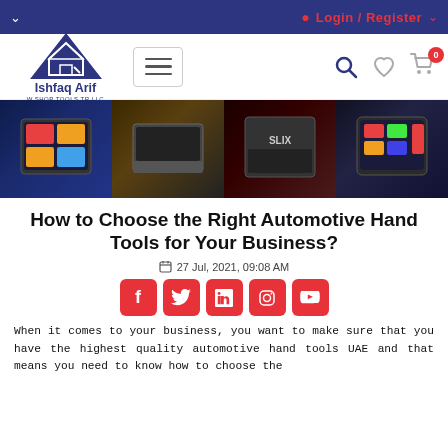Login / Register
[Figure (logo): Ishfaq Arif W.Shop Tools TR LLC logo with blue triangle and house/tools icon]
[Figure (photo): Banner image showing multiple automotive diagnostic tablets and laptop tools]
How to Choose the Right Automotive Hand Tools for Your Business?
27 Jul, 2021, 09:08 AM
[Figure (infographic): Social media share buttons: Facebook, Twitter, LinkedIn, Instagram, YouTube]
When it comes to your business, you want to make sure that you have the highest quality automotive hand tools UAE and that means you need to know how to choose the